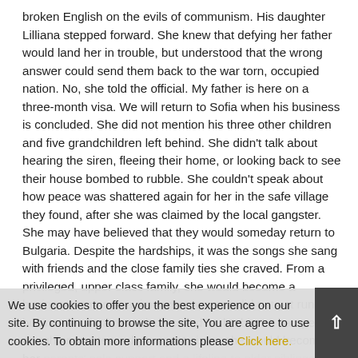broken English on the evils of communism. His daughter Lilliana stepped forward. She knew that defying her father would land her in trouble, but understood that the wrong answer could send them back to the war torn, occupied nation. No, she told the official. My father is here on a three-month visa. We will return to Sofia when his business is concluded. She did not mention his three other children and five grandchildren left behind. She didn't talk about hearing the siren, fleeing their home, or looking back to see their house bombed to rubble. She couldn't speak about how peace was shattered again for her in the safe village they found, after she was claimed by the local gangster. She may have believed that they would someday return to Bulgaria. Despite the hardships, it was the songs she sang with friends and the close family ties she craved. From a privileged, upper class family, she would become a businesswoman at a time when women did not yet run businesses, in a new place called "suburbia." A pampered daughter and teased youngest sister, she would become her parents' sole support and a lifeline to older siblings left behind...
We use cookies to offer you the best experience on our site. By continuing to browse the site, You are agree to use cookies. To obtain more informations please Click here.